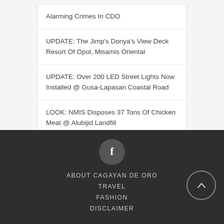Alarming Crimes In CDO
UPDATE: The Jimp's Donya's View Deck Resort Of Opol, Misamis Oriental
UPDATE: Over 200 LED Street Lights Now Installed @ Gusa-Lapasan Coastal Road
LOOK: NMIS Disposes 37 Tons Of Chicken Meat @ Alubijid Landfill
[Figure (logo): Facebook icon circle button]
ABOUT CAGAYAN DE ORO  TRAVEL  FASHION  DISCLAIMER
[Figure (other): Scroll-to-top circular arrow button]